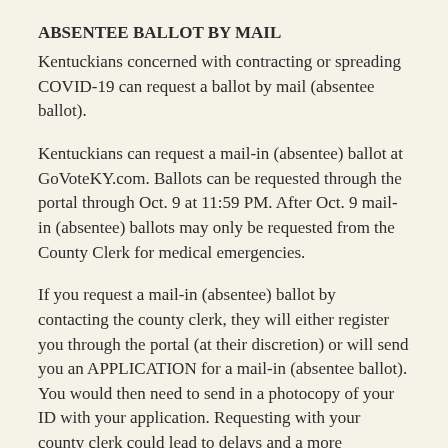ABSENTEE BALLOT BY MAIL
Kentuckians concerned with contracting or spreading COVID-19 can request a ballot by mail (absentee ballot).
Kentuckians can request a mail-in (absentee) ballot at GoVoteKY.com. Ballots can be requested through the portal through Oct. 9 at 11:59 PM. After Oct. 9 mail-in (absentee) ballots may only be requested from the County Clerk for medical emergencies.
If you request a mail-in (absentee) ballot by contacting the county clerk, they will either register you through the portal (at their discretion) or will send you an APPLICATION for a mail-in (absentee ballot). You would then need to send in a photocopy of your ID with your application. Requesting with your county clerk could lead to delays and a more complicated process for voters. We strongly